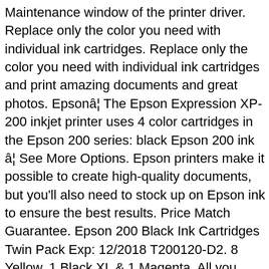Maintenance window of the printer driver. Replace only the color you need with individual ink cartridges. Replace only the color you need with individual ink cartridges and print amazing documents and great photos. Epsonâ¦ The Epson Expression XP-200 inkjet printer uses 4 color cartridges in the Epson 200 series: black Epson 200 ink â¦ See More Options. Epson printers make it possible to create high-quality documents, but you'll also need to stock up on Epson ink to ensure the best results. Price Match Guarantee. Epson 200 Black Ink Cartridges Twin Pack Exp: 12/2018 T200120-D2. 8 Yellow, 1 Black XL & 1 Magenta. All you need to print about 150 â¦ Ships from and sold by ShazDealz. Free same-day shipping, guaranteed quality. Free shipping. Watch. $13.59. New In Package Epson 200 Tri Color Ink â¦ These Epson DURABrite 200 T200120-BCS ink jet cartridges deliver bold cyan, magenta, yellow and black ink that resists damage caused by water, smudging and fading, so you can generate striking, â¦ LinkedIn Epson T200520 DURABrite Ultra Ink Color Combo Pack, Standard Capacity Cartridges,